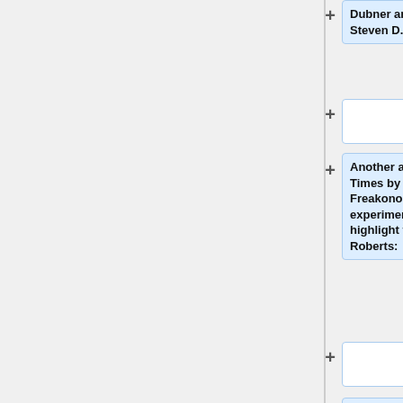Dubner and Steven D. Levitt
Another article in the New York Times by the authors of Freakonomics discusses self experimentation. The authors highlight the work of Seth Roberts:
<blockquote><p>Seth Roberts is a 52-year-old psychology